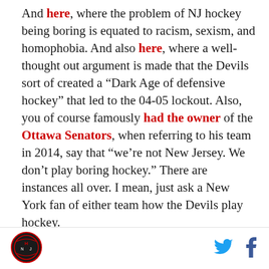And here, where the problem of NJ hockey being boring is equated to racism, sexism, and homophobia. And also here, where a well-thought out argument is made that the Devils sort of created a “Dark Age of defensive hockey” that led to the 04-05 lockout. Also, you of course famously had the owner of the Ottawa Senators, when referring to his team in 2014, say that “we’re not New Jersey. We don’t play boring hockey.” There are instances all over. I mean, just ask a New York fan of either team how the Devils play hockey.
Most any fan of the team could of course argue against that statement. Like you most likely, I’ve watched the Devils for the last couple decades, and I didn’t think they were boring. However, you could say what you
[Figure (logo): Hockey NJ team logo - circular emblem with HNJ letters]
[Figure (logo): Twitter bird icon in blue]
[Figure (logo): Facebook f icon in dark blue]